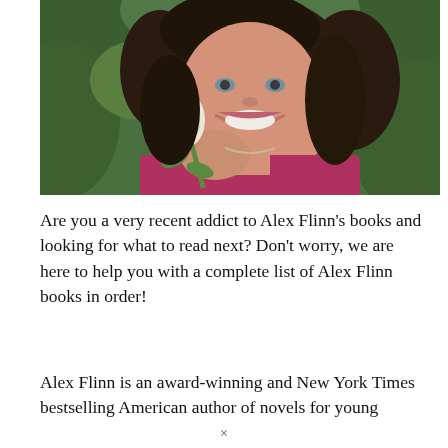[Figure (photo): Author photo of Alex Flinn, a woman with dark hair holding a white rose, smiling, wearing a red top, with green foliage in the background.]
Are you a very recent addict to Alex Flinn's books and looking for what to read next? Don't worry, we are here to help you with a complete list of Alex Flinn books in order!
Alex Flinn is an award-winning and New York Times bestselling American author of novels for young